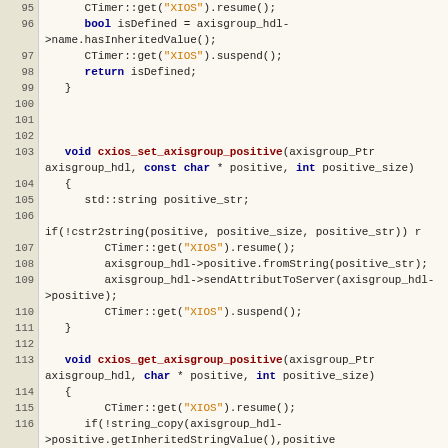[Figure (screenshot): Source code listing in C++ showing lines 95-118, with syntax highlighting. Line numbers on left, code on right. Keywords in dark blue bold, function names in dark red bold, string literals in orange.]